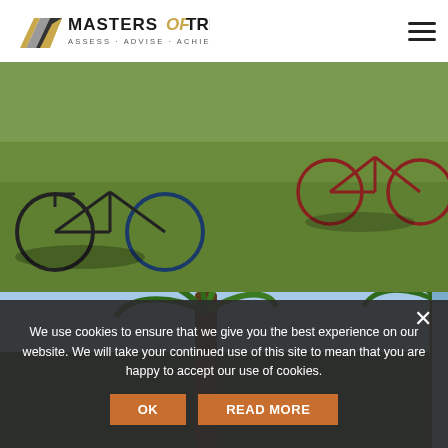[Figure (logo): Masters of Tri logo with geometric M icon and tagline ASSESS · ADVISE · ACHIEVE]
[Figure (photo): Bicycles lying on green grass field at triathlon transition area]
[Figure (photo): Palm trees viewed from below against sky]
We use cookies to ensure that we give you the best experience on our website. We will take your continued use of this site to mean that you are happy to accept our use of cookies.
OK
READ MORE